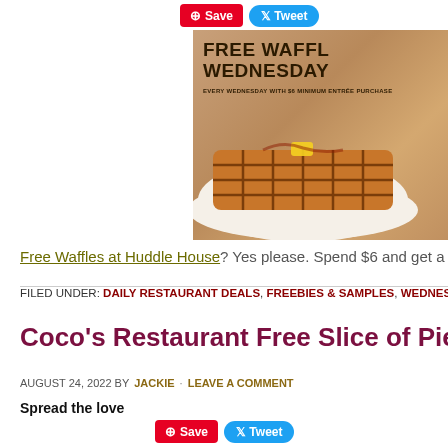[Figure (screenshot): Pinterest Save and Twitter Tweet social sharing buttons at top of page]
[Figure (photo): Free Waffle Wednesday promotional image from Huddle House showing a waffle on a plate with text 'FREE WAFFLE WEDNESDAY - EVERY WEDNESDAY WITH $6 MINIMUM ENTREE PURCHASE']
Free Waffles at Huddle House? Yes please. Spend $6 and get a free w...
FILED UNDER: DAILY RESTAURANT DEALS, FREEBIES & SAMPLES, WEDNESDAY...
Coco's Restaurant Free Slice of Pie Wed...
AUGUST 24, 2022 BY JACKIE · LEAVE A COMMENT
Spread the love
[Figure (screenshot): Pinterest Save and Twitter Tweet social sharing buttons at bottom of page]